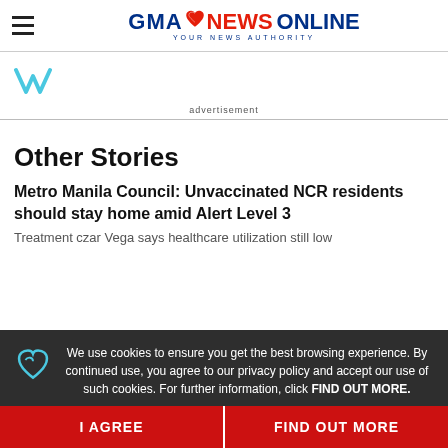GMA NEWS ONLINE - YOUR NEWS AUTHORITY
[Figure (logo): GMA News Online logo with heart icon, tagline YOUR NEWS AUTHORITY]
[Figure (logo): Advertisement area with stylized W icon in teal color]
advertisement
Other Stories
Metro Manila Council: Unvaccinated NCR residents should stay home amid Alert Level 3
Treatment czar Vega says healthcare utilization still low
We use cookies to ensure you get the best browsing experience. By continued use, you agree to our privacy policy and accept our use of such cookies. For further information, click FIND OUT MORE.
I AGREE
FIND OUT MORE